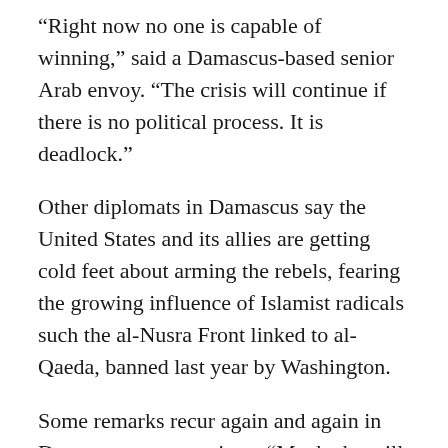“Right now no one is capable of winning,” said a Damascus-based senior Arab envoy. “The crisis will continue if there is no political process. It is deadlock.”
Other diplomats in Damascus say the United States and its allies are getting cold feet about arming the rebels, fearing the growing influence of Islamist radicals such the al-Nusra Front linked to al-Qaeda, banned last year by Washington.
Some remarks recur again and again in Damascus conversations: “Maybe he will stay in power, after all”, and, above all, “Who is the alternative to Assad?”
“At first I thought it was a matter of months. That’s why I came here and stayed to bear witness to the final